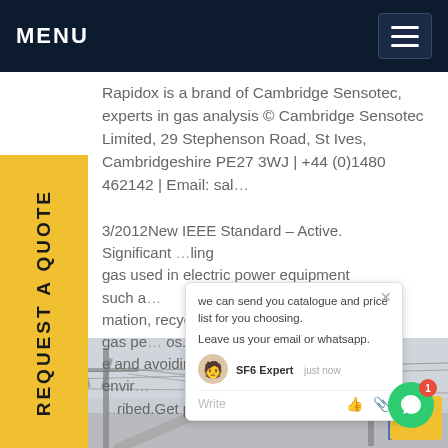MENU
Rapidox is a brand of Cambridge Sensotec, experts in gas analysis © Cambridge Sensotec Limited, 29 Stephenson Road, St Ives, Cambridgeshire PE27 3WJ | +44 (0)1480 462142 | Email: sale...
3/2012New IEEE Standard – Active. Significant ... gas used in electric power equipment such as ... mation, recycling in order to keep the gas per ... os. and avoiding any deliberate release in envir ... ribed.Get price
[Figure (screenshot): Chat popup overlay showing: 'we can send you catalogue and price list for you choosing. Leave us your email or whatsapp.' with SF6 Expert agent, just now timestamp, Write input with thumbs up and paperclip icons. Green chat bubble with badge 1 in corner.]
[Figure (photo): Photo of electrical power line workers on a cherry picker/bucket truck working on high voltage transmission line equipment, with industrial infrastructure in background.]
REQUEST A QUOTE